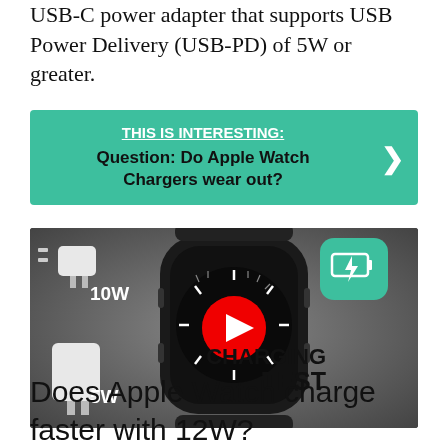USB-C power adapter that supports USB Power Delivery (USB-PD) of 5W or greater.
[Figure (infographic): Teal/green banner with white underlined text 'THIS IS INTERESTING:' and bold black text 'Question: Do Apple Watch Chargers wear out?' with a right-arrow chevron on the right side]
[Figure (screenshot): YouTube video thumbnail showing an Apple Watch with chargers labeled 10W and 5W on the left, a red YouTube play button in the center, a green charging icon on the upper right, and 'CHARGING TEST' text on the lower right]
Does Apple Watch charge faster with 12W?